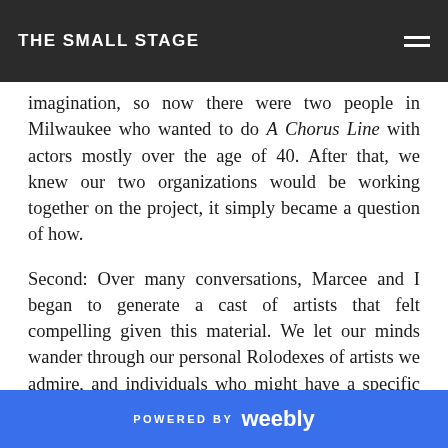THE SMALL STAGE
imagination, so now there were two people in Milwaukee who wanted to do A Chorus Line with actors mostly over the age of 40. After that, we knew our two organizations would be working together on the project, it simply became a question of how.
Second: Over many conversations, Marcee and I began to generate a cast of artists that felt compelling given this material. We let our minds wander through our personal Rolodexes of artists we admire, and individuals who might have a specific poignancy or sparkle to bring to a certain role. Then we asked them if they’d be interested in working on this. At MOT, we often approach things in this “backwards” way. First locating a cohort of artists interested in working on something
POWERED BY weebly